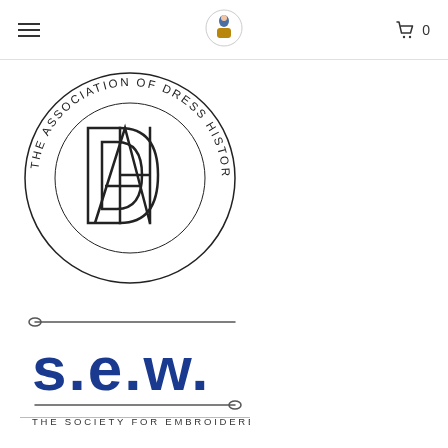Navigation bar with hamburger menu, central logo, and cart icon with 0
[Figure (logo): The Association of Dress Historians circular logo with stylized ADH monogram in the center and text around the circumference]
[Figure (logo): s.e.w. - The Society for Embroidered Work logo with needle graphic and blue bold lettering]